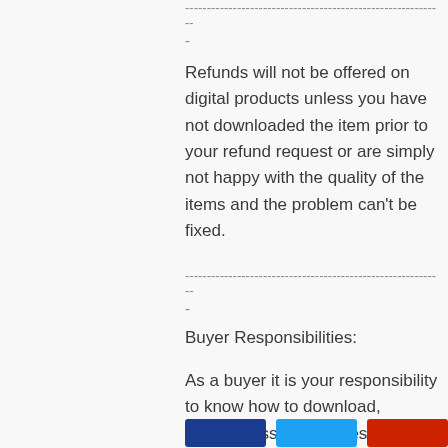------------------------------------------------------------ -
Refunds will not be offered on digital products unless you have not downloaded the item prior to your refund request or are simply not happy with the quality of the items and the problem can't be fixed.
------------------------------------------------------------ -
Buyer Responsibilities:
As a buyer it is your responsibility to know how to download, uncompress / unzip files and use your own software. Please Email me with questions and I will try to help. Melodylanedesigns@gmail.com
[Figure (other): Three social media share buttons: dark blue, light blue, and red]